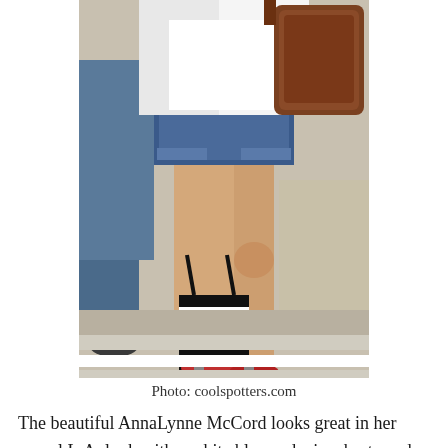[Figure (photo): A woman walking across a zebra crossing viewed from behind. She wears a white blazer, denim shorts, and red shoes. She carries a black-and-white striped bag in one hand and a brown leather bag over her shoulder. Another person in jeans is visible to the left.]
Photo: coolspotters.com
The beautiful AnnaLynne McCord looks great in her casual L.A. look with a white blazer, denim shorts, red shoes and necklace, and classic Wayfarer sunglasses. The next semicolon for right and...